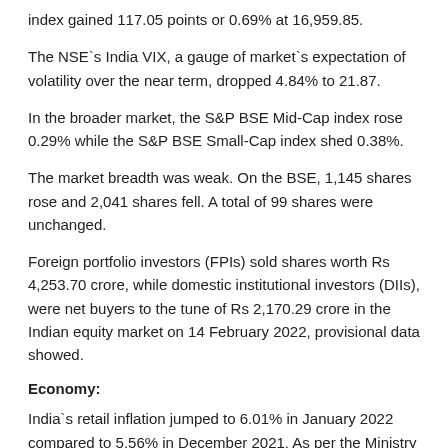index gained 117.05 points or 0.69% at 16,959.85.
The NSE`s India VIX, a gauge of market`s expectation of volatility over the near term, dropped 4.84% to 21.87.
In the broader market, the S&P BSE Mid-Cap index rose 0.29% while the S&P BSE Small-Cap index shed 0.38%.
The market breadth was weak. On the BSE, 1,145 shares rose and 2,041 shares fell. A total of 99 shares were unchanged.
Foreign portfolio investors (FPIs) sold shares worth Rs 4,253.70 crore, while domestic institutional investors (DIIs), were net buyers to the tune of Rs 2,170.29 crore in the Indian equity market on 14 February 2022, provisional data showed.
Economy:
India`s retail inflation jumped to 6.01% in January 2022 compared to 5.56% in December 2021. As per the Ministry of Statistics and Programme Implementation data, rate based on the Consumer Price Index (CPI)